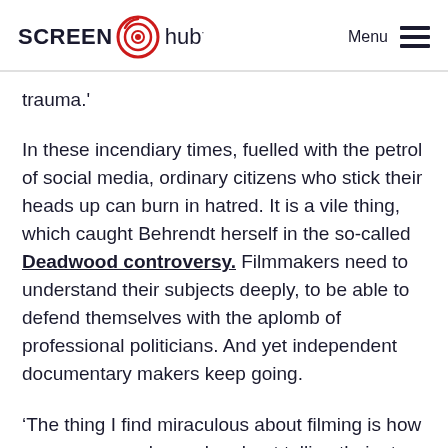SCREEN hub  Menu
trauma.'
In these incendiary times, fuelled with the petrol of social media, ordinary citizens who stick their heads up can burn in hatred. It is a vile thing, which caught Behrendt herself in the so-called Deadwood controversy. Filmmakers need to understand their subjects deeply, to be able to defend themselves with the aplomb of professional politicians. And yet independent documentary makers keep going.
‘The thing I find miraculous about filming is how generous people can be about telling their story